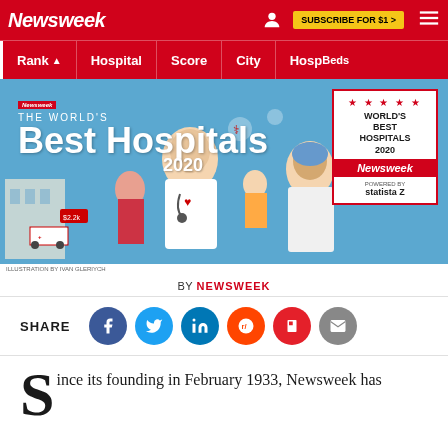Newsweek | SUBSCRIBE FOR $1 >
| Rank ▲ | Hospital | Score | City | Hospital Beds |
| --- | --- | --- | --- | --- |
[Figure (illustration): Newsweek World's Best Hospitals 2020 banner illustration showing medical professionals with a badge showing World's Best Hospitals 2020 powered by Statista]
ILLUSTRATION BY IVAN GLERIYCH
BY NEWSWEEK
SHARE
Since its founding in February 1933, Newsweek has